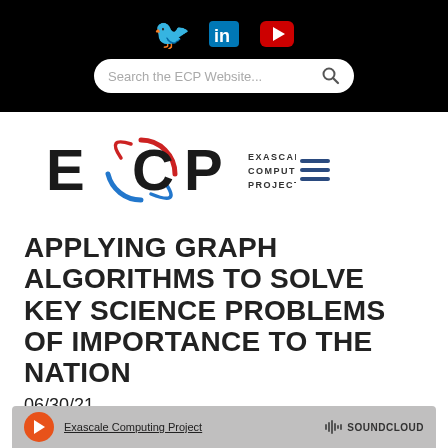[Figure (screenshot): Black top navigation bar with Twitter, LinkedIn, and YouTube social media icons, and a search bar labeled 'Search the ECP Website...' with a search icon]
[Figure (logo): ECP Exascale Computing Project logo with circular red and blue arc design, text 'ECP EXASCALE COMPUTING PROJECT', and a hamburger menu icon]
APPLYING GRAPH ALGORITHMS TO SOLVE KEY SCIENCE PROBLEMS OF IMPORTANCE TO THE NATION
06/30/21
[Figure (screenshot): SoundCloud embedded player bar showing Exascale Computing Project link and SoundCloud logo]